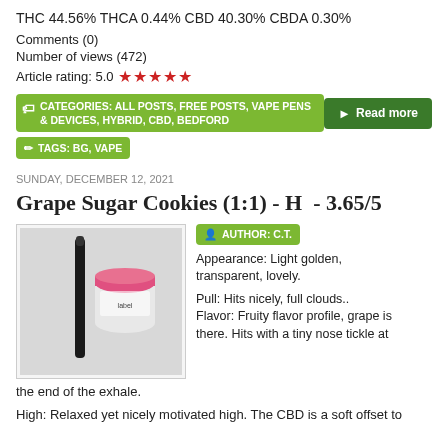THC 44.56% THCA 0.44% CBD 40.30% CBDA 0.30%
Comments (0)
Number of views (472)
Article rating: 5.0 ★★★★★
CATEGORIES: ALL POSTS, FREE POSTS, VAPE PENS & DEVICES, HYBRID, CBD, BEDFORD
Read more
TAGS: BG, VAPE
SUNDAY, DECEMBER 12, 2021
Grape Sugar Cookies (1:1) - H  - 3.65/5
[Figure (photo): Photo of a vape pen and a small white container with a pink lid, on a light grey background.]
AUTHOR: C.T.
Appearance: Light golden, transparent, lovely.
Pull: Hits nicely, full clouds.. Flavor: Fruity flavor profile, grape is there. Hits with a tiny nose tickle at the end of the exhale.
High: Relaxed yet nicely motivated high. The CBD is a soft offset to